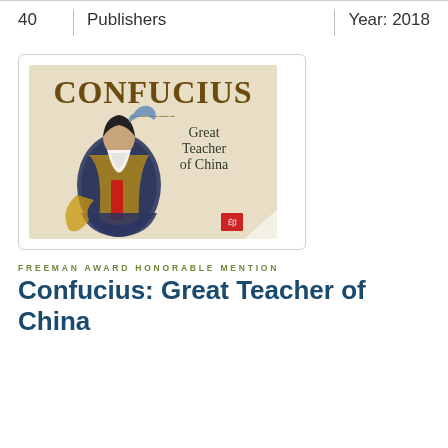40 | Publishers | Year: 2018
[Figure (illustration): Book cover of 'Confucius: Great Teacher of China' showing an illustrated elderly Chinese man in ornate robes, with a diagonal 'HONORABLE MENTION' banner overlay]
FREEMAN AWARD HONORABLE MENTION
Confucius: Great Teacher of China